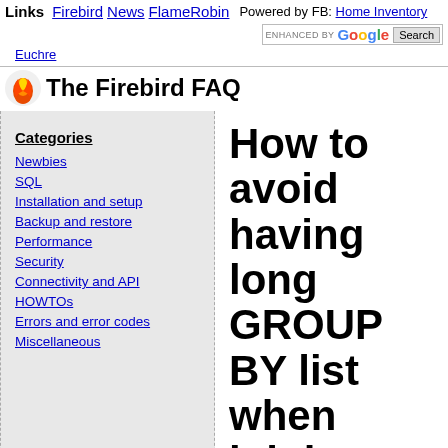Links  Firebird  News  FlameRobin  Powered by FB: Home Inventory  Euchre
The Firebird FAQ
Categories
Newbies
SQL
Installation and setup
Backup and restore
Performance
Security
Connectivity and API
HOWTOs
Errors and error codes
Miscellaneous
How to avoid having long GROUP BY list when joining other